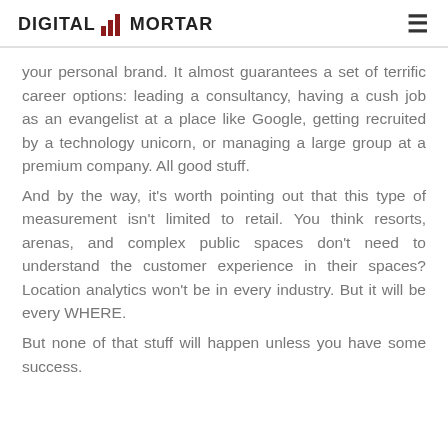DIGITAL MORTAR
your personal brand. It almost guarantees a set of terrific career options: leading a consultancy, having a cush job as an evangelist at a place like Google, getting recruited by a technology unicorn, or managing a large group at a premium company. All good stuff.
And by the way, it’s worth pointing out that this type of measurement isn’t limited to retail. You think resorts, arenas, and complex public spaces don’t need to understand the customer experience in their spaces? Location analytics won’t be in every industry. But it will be every WHERE.
But none of that stuff will happen unless you have some success.